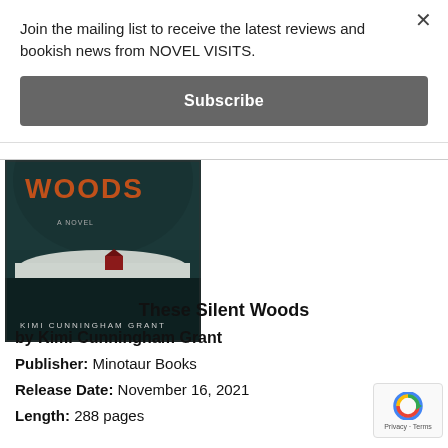Join the mailing list to receive the latest reviews and bookish news from NOVEL VISITS.
Subscribe
[Figure (photo): Book cover of 'These Silent Woods' by Kimi Cunningham Grant — dark teal aerial forest scene with snow and a red barn, orange title text 'WOODS' at top]
These Silent Woods
by Kimi Cunningham Grant
Publisher: Minotaur Books
Release Date: November 16, 2021
Length: 288 pages